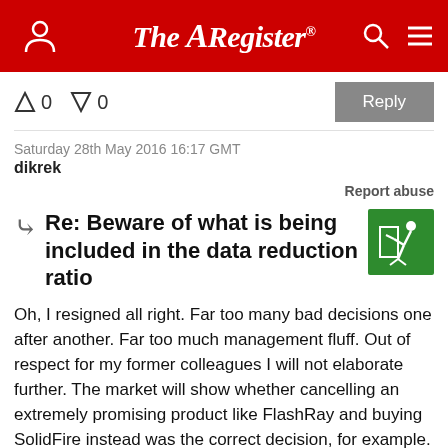The Register
0  0  Reply
Saturday 28th May 2016 16:17 GMT
dikrek
Report abuse
Re: Beware of what is being included in the data reduction ratio
Oh, I resigned all right. Far too many bad decisions one after another. Far too much management fluff. Out of respect for my former colleagues I will not elaborate further. The market will show whether cancelling an extremely promising product like FlashRay and buying SolidFire instead was the correct decision, for example.
I had my pick of vendors to join and I joined Nimble. And it wasn't about the highest bidder or